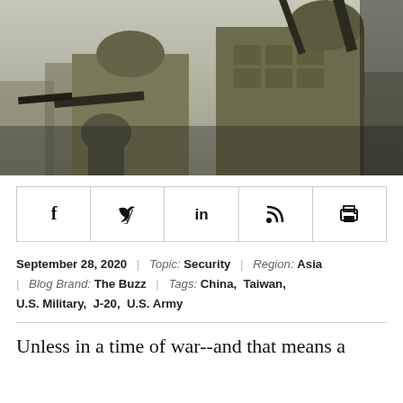[Figure (photo): Military soldiers in camouflage gear holding rifles, training or combat scenario, desaturated/muted color tone]
[Figure (infographic): Social media sharing icons bar: Facebook, Twitter, LinkedIn, RSS feed, Print]
September 28, 2020  |  Topic: Security  |  Region: Asia  |  Blog Brand: The Buzz  |  Tags: China,  Taiwan,  U.S. Military,  J-20,  U.S. Army
Unless in a time of war--and that means a